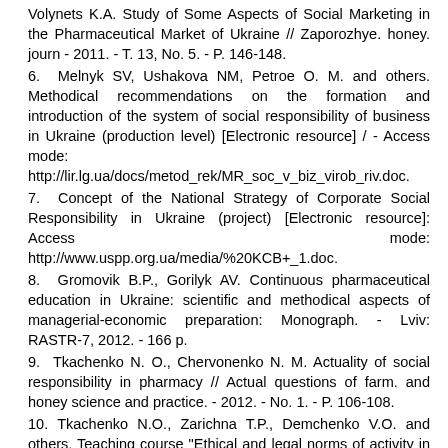Volynets K.A. Study of Some Aspects of Social Marketing in the Pharmaceutical Market of Ukraine // Zaporozhye. honey. journ - 2011. - T. 13, No. 5. - P. 146-148.
6. Melnyk SV, Ushakova NM, Petroe O. M. and others. Methodical recommendations on the formation and introduction of the system of social responsibility of business in Ukraine (production level) [Electronic resource] / - Access mode: http://lir.lg.ua/docs/metod_rek/MR_soc_v_biz_virob_riv.doc.
7. Concept of the National Strategy of Corporate Social Responsibility in Ukraine (project) [Electronic resource]: Access mode: http://www.uspp.org.ua/media/%20KCB+_1.doc.
8. Gromovik B.P., Gorilyk AV. Continuous pharmaceutical education in Ukraine: scientific and methodical aspects of managerial-economic preparation: Monograph. - Lviv: RASTR-7, 2012. - 166 p.
9. Tkachenko N. O., Chervonenko N. M. Actuality of social responsibility in pharmacy // Actual questions of farm. and honey science and practice. - 2012. - No. 1. - P. 106-108.
10. Tkachenko N.O., Zarichna T.P., Demchenko V.O. and others. Teaching course "Ethical and legal norms of activity in the field" pharmacists-cosmetologists / / / Zaporozhye. honey. journ - 2010. - T. 12, No. 6. - P. 95-97.
11. Teroshkevich G.T. Fundamentals of Christian Ethics and ...